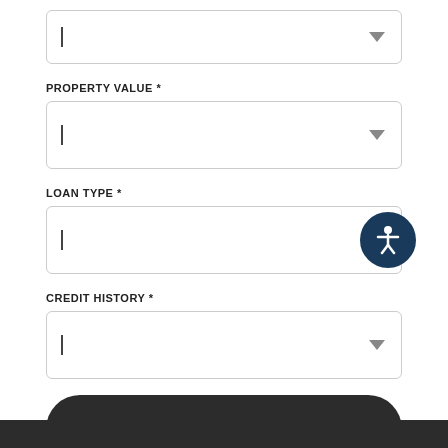[Figure (screenshot): Partial dropdown field at top of page (cut off)]
PROPERTY VALUE *
[Figure (screenshot): Dropdown select box for Property Value]
LOAN TYPE *
[Figure (screenshot): Dropdown select box for Loan Type with accessibility icon overlay]
CREDIT HISTORY *
[Figure (screenshot): Dropdown select box for Credit History]
[Figure (screenshot): SUBMIT button]